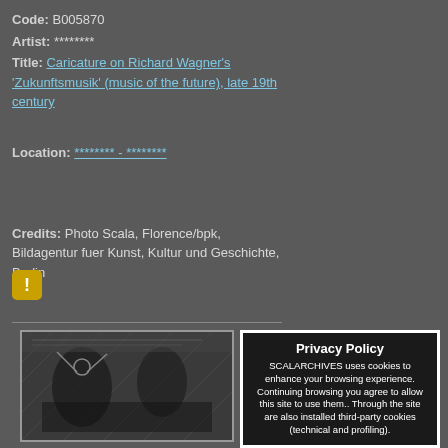Code: B005870
Artist: ********
Title: Caricature on Richard Wagner's 'Zukunftsmusik' (music of the future), late 19th century

Location: ******** - ********


Credits: Photo Scala, Florence/bpk, Bildagentur fuer Kunst, Kultur und Geschichte, Berlin
[Figure (other): Warning/alert icon - yellow square with exclamation mark]
[Figure (photo): Thumbnail of caricature artwork showing Richard Wagner's Zukunftsmusik, black and white historical illustration]
Privacy Policy
SCALARCHIVES uses cookies to enhance your browsing experience. Continuing browsing you agree to allow this site to use them.. Through the site are also installed third-party cookies (technical and profiling).